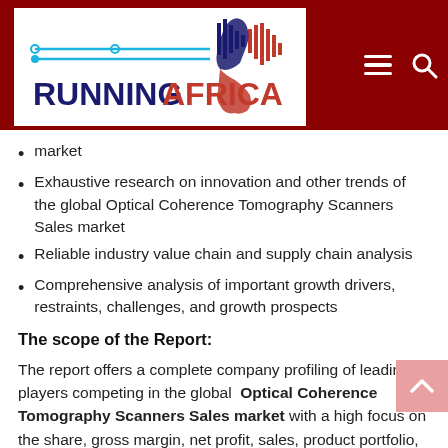RUNNINGAFRICA
market
Exhaustive research on innovation and other trends of the global Optical Coherence Tomography Scanners Sales market
Reliable industry value chain and supply chain analysis
Comprehensive analysis of important growth drivers, restraints, challenges, and growth prospects
The scope of the Report:
The report offers a complete company profiling of leading players competing in the global Optical Coherence Tomography Scanners Sales market with a high focus on the share, gross margin, net profit, sales, product portfolio, new applications, recent developments, and